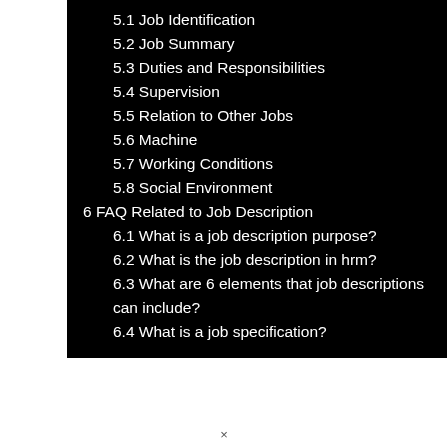5.1 Job Identification
5.2 Job Summary
5.3 Duties and Responsibilities
5.4 Supervision
5.5 Relation to Other Jobs
5.6 Machine
5.7 Working Conditions
5.8 Social Environment
6 FAQ Related to Job Description
6.1 What is a job description purpose?
6.2 What is the job description in hrm?
6.3 What are 6 elements that job descriptions can include?
6.4 What is a job specification?
×